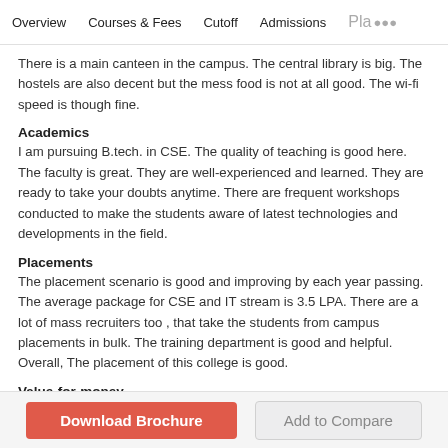Overview   Courses & Fees   Cutoff   Admissions   Pla···
There is a main canteen in the campus. The central library is big. The hostels are also decent but the mess food is not at all good. The wi-fi speed is though fine.
Academics
I am pursuing B.tech. in CSE. The quality of teaching is good here. The faculty is great. They are well-experienced and learned. They are ready to take your doubts anytime. There are frequent workshops conducted to make the students aware of latest technologies and developments in the field.
Placements
The placement scenario is good and improving by each year passing. The average package for CSE and IT stream is 3.5 LPA. There are a lot of mass recruiters too , that take the students from campus placements in bulk. The training department is good and helpful. Overall, The placement of this college is good.
Value-for-money
the course costs about 80,000 per year. I feel my money is getting its worth because the teachers are great and helpful. Also, The placements are improving in this college.